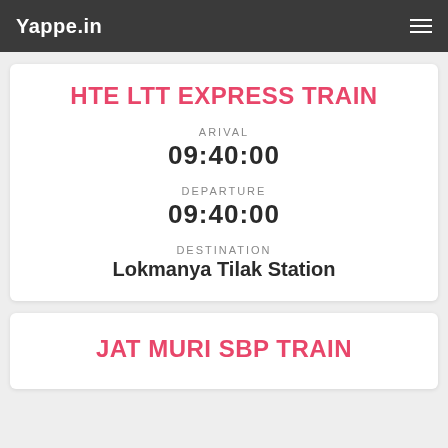Yappe.in
HTE LTT EXPRESS TRAIN
ARIVAL
09:40:00
DEPARTURE
09:40:00
DESTINATION
Lokmanya Tilak Station
JAT MURI SBP TRAIN